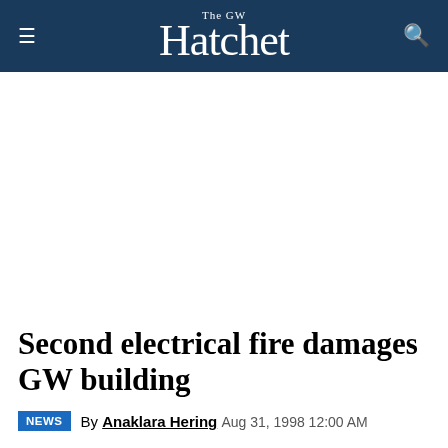The GW Hatchet
Second electrical fire damages GW building
By Anaklara Hering Aug 31, 1998 12:00 AM